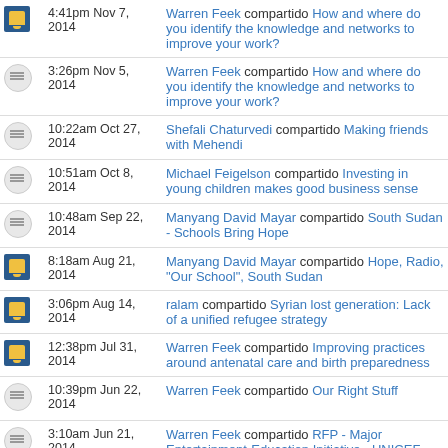4:41pm Nov 7, 2014 — Warren Feek compartido How and where do you identify the knowledge and networks to improve your work?
3:26pm Nov 5, 2014 — Warren Feek compartido How and where do you identify the knowledge and networks to improve your work?
10:22am Oct 27, 2014 — Shefali Chaturvedi compartido Making friends with Mehendi
10:51am Oct 8, 2014 — Michael Feigelson compartido Investing in young children makes good business sense
10:48am Sep 22, 2014 — Manyang David Mayar compartido South Sudan - Schools Bring Hope
8:18am Aug 21, 2014 — Manyang David Mayar compartido Hope, Radio, "Our School", South Sudan
3:06pm Aug 14, 2014 — ralam compartido Syrian lost generation: Lack of a unified refugee strategy
12:38pm Jul 31, 2014 — Warren Feek compartido Improving practices around antenatal care and birth preparedness
10:39pm Jun 22, 2014 — Warren Feek compartido Our Right Stuff
3:10am Jun 21, 2014 — Warren Feek compartido RFP - Major Entertainment-Education Initiative - UNICEF